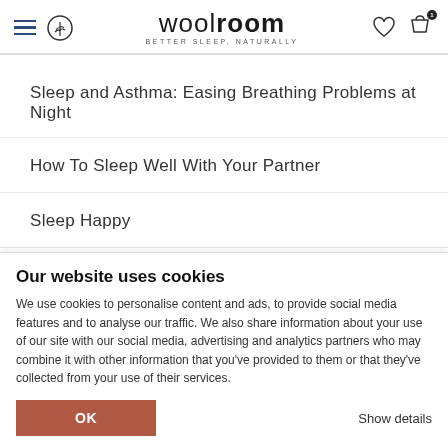woolroom BETTER SLEEP, NATURALLY
Sleep and Asthma: Easing Breathing Problems at Night
How To Sleep Well With Your Partner
Sleep Happy
Stress and Sleep
Our website uses cookies
We use cookies to personalise content and ads, to provide social media features and to analyse our traffic. We also share information about your use of our site with our social media, advertising and analytics partners who may combine it with other information that you've provided to them or that they've collected from your use of their services.
OK
Show details